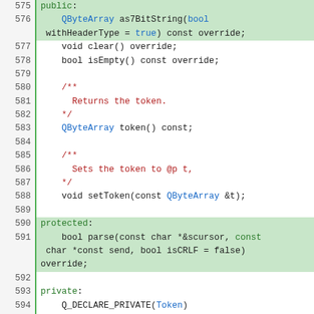[Figure (screenshot): Source code listing showing C++ class definition with line numbers 575-604, including public/protected/private sections with method declarations and comments]